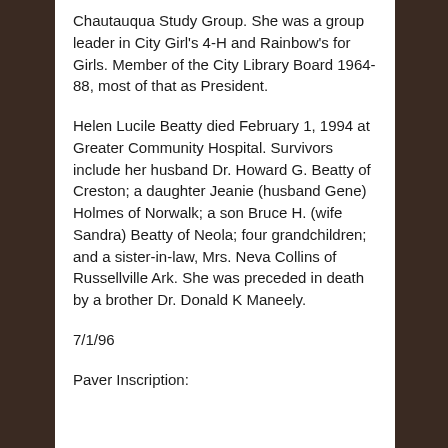Chautauqua Study Group. She was a group leader in City Girl's 4-H and Rainbow's for Girls. Member of the City Library Board 1964-88, most of that as President.
Helen Lucile Beatty died February 1, 1994 at Greater Community Hospital. Survivors include her husband Dr. Howard G. Beatty of Creston; a daughter Jeanie (husband Gene) Holmes of Norwalk; a son Bruce H. (wife Sandra) Beatty of Neola; four grandchildren; and a sister-in-law, Mrs. Neva Collins of Russellville Ark. She was preceded in death by a brother Dr. Donald K Maneely.
7/1/96
Paver Inscription: